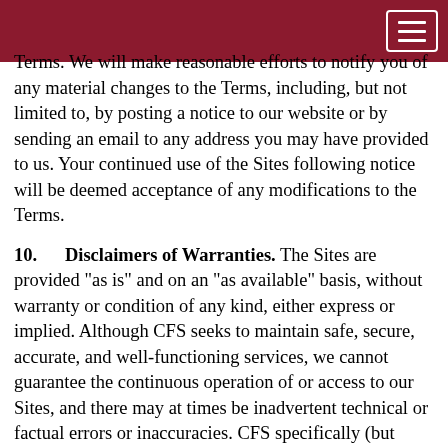Terms. We will make reasonable efforts to notify you of any material changes to the Terms, including, but not limited to, by posting a notice to our website or by sending an email to any address you may have provided to us. Your continued use of the Sites following notice will be deemed acceptance of any modifications to the Terms.
10. Disclaimers of Warranties. The Sites are provided "as is" and on an "as available" basis, without warranty or condition of any kind, either express or implied. Although CFS seeks to maintain safe, secure, accurate, and well-functioning services, we cannot guarantee the continuous operation of or access to our Sites, and there may at times be inadvertent technical or factual errors or inaccuracies. CFS specifically (but without limitation) disclaims (i) any implied warranties of merchantability, fitness for a particular purpose, quiet enjoyment, or non-infringement; and (ii) any warranties arising out of course-of-dealing, usage, or trade. You assume all risk for any/all damages that may result from your use of or access to the Sites. CFS does not guarantee the accuracy of,